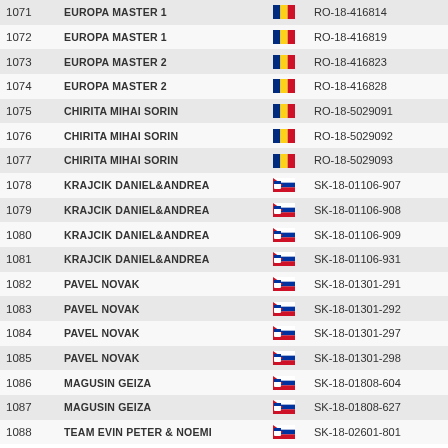| # | Name | Flag | Code |
| --- | --- | --- | --- |
| 1071 | EUROPA MASTER 1 | RO | RO-18-416814 |
| 1072 | EUROPA MASTER 1 | RO | RO-18-416819 |
| 1073 | EUROPA MASTER 2 | RO | RO-18-416823 |
| 1074 | EUROPA MASTER 2 | RO | RO-18-416828 |
| 1075 | CHIRITA MIHAI SORIN | RO | RO-18-5029091 |
| 1076 | CHIRITA MIHAI SORIN | RO | RO-18-5029092 |
| 1077 | CHIRITA MIHAI SORIN | RO | RO-18-5029093 |
| 1078 | KRAJCIK DANIEL&ANDREA | SK | SK-18-01106-907 |
| 1079 | KRAJCIK DANIEL&ANDREA | SK | SK-18-01106-908 |
| 1080 | KRAJCIK DANIEL&ANDREA | SK | SK-18-01106-909 |
| 1081 | KRAJCIK DANIEL&ANDREA | SK | SK-18-01106-931 |
| 1082 | PAVEL NOVAK | SK | SK-18-01301-291 |
| 1083 | PAVEL NOVAK | SK | SK-18-01301-292 |
| 1084 | PAVEL NOVAK | SK | SK-18-01301-297 |
| 1085 | PAVEL NOVAK | SK | SK-18-01301-298 |
| 1086 | MAGUSIN GEIZA | SK | SK-18-01808-604 |
| 1087 | MAGUSIN GEIZA | SK | SK-18-01808-627 |
| 1088 | TEAM EVIN PETER & NOEMI | SK | SK-18-02601-801 |